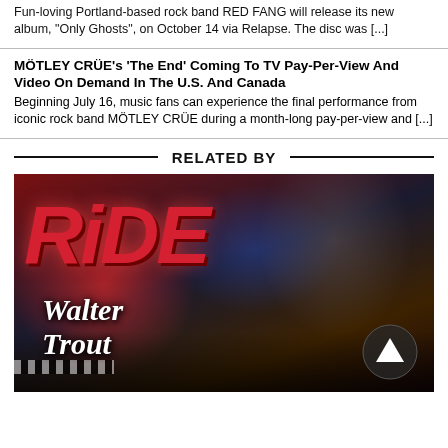Fun-loving Portland-based rock band RED FANG will release its new album, "Only Ghosts", on October 14 via Relapse. The disc was [...]
MÖTLEY CRÜE's 'The End' Coming To TV Pay-Per-View And Video On Demand In The U.S. And Canada
Beginning July 16, music fans can experience the final performance from iconic rock band MÖTLEY CRÜE during a month-long pay-per-view and [...]
RELATED BY
[Figure (photo): Album cover for Walter Trout's 'Ride' — shows the artist holding a guitar against a dramatic red and dark background with large stylized red 'RIDE' text and cursive 'Walter Trout' text. A circular arrow/navigation button appears in the bottom right corner.]